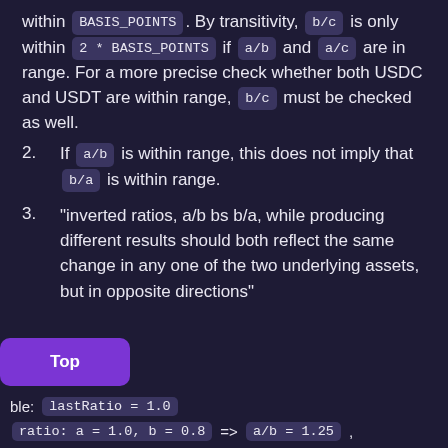within BASIS_POINTS. By transitivity, b/c is only within 2 * BASIS_POINTS if a/b and a/c are in range. For a more precise check whether both USDC and USDT are within range, b/c must be checked as well.
2. If a/b is within range, this does not imply that b/a is within range.
3. "inverted ratios, a/b bs b/a, while producing different results should both reflect the same change in any one of the two underlying assets, but in opposite directions"
ole: lastRatio = 1.0
ratio: a = 1.0, b = 0.8 => a/b = 1.25,